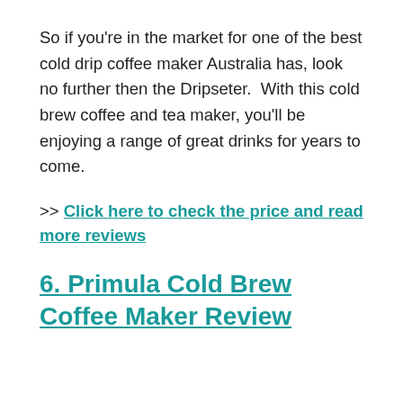So if you're in the market for one of the best cold drip coffee maker Australia has, look no further then the Dripseter.  With this cold brew coffee and tea maker, you'll be enjoying a range of great drinks for years to come.
>> Click here to check the price and read more reviews
6. Primula Cold Brew Coffee Maker Review